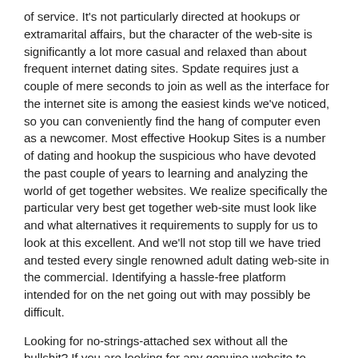of service. It's not particularly directed at hookups or extramarital affairs, but the character of the web-site is significantly a lot more casual and relaxed than about frequent internet dating sites. Spdate requires just a couple of mere seconds to join as well as the interface for the internet site is among the easiest kinds we've noticed, so you can conveniently find the hang of computer even as a newcomer. Most effective Hookup Sites is a number of dating and hookup the suspicious who have devoted the past couple of years to learning and analyzing the world of get together websites. We realize specifically the particular very best get together web-site must look like and what alternatives it requirements to supply for us to look at this excellent. And we'll not stop till we have tried and tested every single renowned adult dating web-site in the commercial. Identifying a hassle-free platform intended for on the net going out with may possibly be difficult.
Looking for no-strings-attached sex without all the bullshit? If you are looking for any genuine website to attach, we expect Adult FriendFinder can complete the task for you. Referred to as most dependable and the best performing web site designed for hookups, it is performing the rounds because mil novecentos e noventa e seis which should genuinely become a explanation enough to trust its